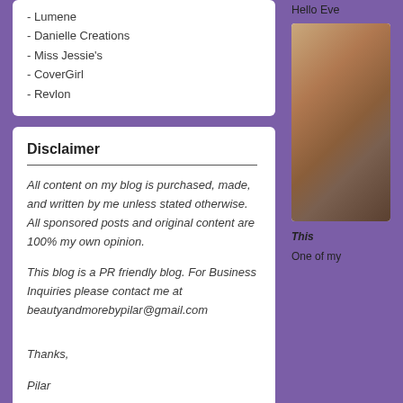- Lumene
- Danielle Creations
- Miss Jessie's
- CoverGirl
- Revlon
Disclaimer
All content on my blog is purchased, made, and written by me unless stated otherwise. All sponsored posts and original content are 100% my own opinion.
This blog is a PR friendly blog. For Business Inquiries please contact me at beautyandmorebypilar@gmail.com
Thanks,
Pilar
Hello Eve
[Figure (photo): A photo of what appears to be a product or food item with earthy brown tones]
This
One of my